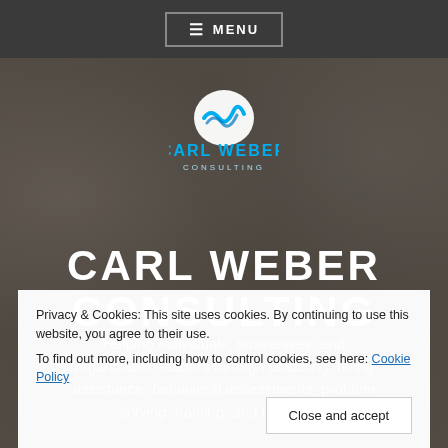≡ MENU
[Figure (logo): Carl Weber Consulting logo — stylized white and cyan checkmark/wave icon above the text 'CARL WEBER' in cyan and 'CONSULTING' in lighter text]
CARL WEBER CONSULTING
Helping individuals, businesses, and organization leaders through coaching, hiring assistance, behavioral assessments, problem solving, training, and facilitation
Privacy & Cookies: This site uses cookies. By continuing to use this website, you agree to their use.
To find out more, including how to control cookies, see here: Cookie Policy
Close and accept